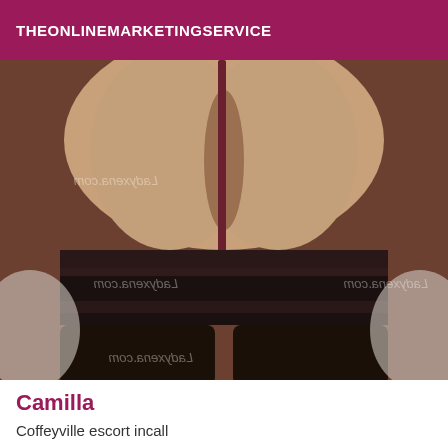THEONLINEMARKETINGSERVICE
[Figure (photo): A close-up photo of a person wearing black thigh-high stockings with a garter belt, watermarked with 'Ladyxena.com' in multiple locations.]
Camilla
Coffeyville escort incall